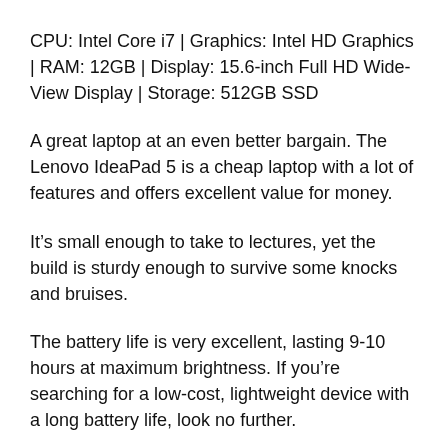CPU: Intel Core i7 | Graphics: Intel HD Graphics | RAM: 12GB | Display: 15.6-inch Full HD Wide-View Display | Storage: 512GB SSD
A great laptop at an even better bargain. The Lenovo IdeaPad 5 is a cheap laptop with a lot of features and offers excellent value for money.
It’s small enough to take to lectures, yet the build is sturdy enough to survive some knocks and bruises.
The battery life is very excellent, lasting 9-10 hours at maximum brightness. If you’re searching for a low-cost, lightweight device with a long battery life, look no further.
If that’s the case, this is the laptop for you. The Lenovo IdeaPad 5 is a quick laptop thanks to its Intel Core i7